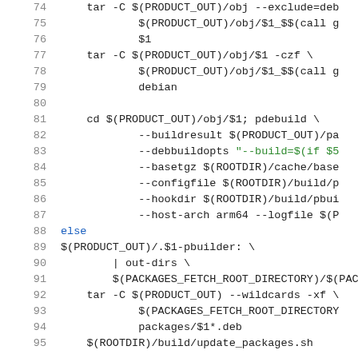[Figure (screenshot): Source code listing showing lines 74-95 of a Makefile or build script. Line numbers on the left in gray, code in dark monospace with some green-highlighted string literals. Contains tar, pdebuild, and pbuilder commands with Makefile variables like $(PRODUCT_OUT), $(ROOTDIR), $(PACKAGES_FETCH_ROOT_DIRECTORY).]